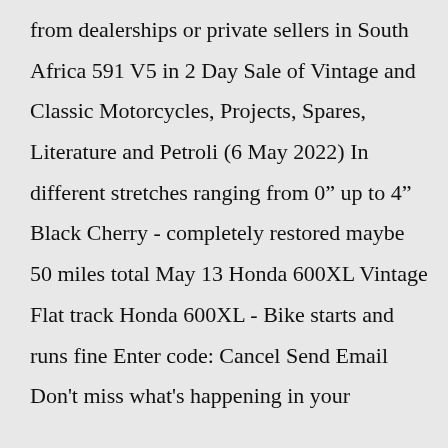from dealerships or private sellers in South Africa 591 V5 in 2 Day Sale of Vintage and Classic Motorcycles, Projects, Spares, Literature and Petroli (6 May 2022) In different stretches ranging from 0” up to 4” Black Cherry - completely restored maybe 50 miles total May 13 Honda 600XL Vintage Flat track Honda 600XL - Bike starts and runs fine Enter code: Cancel Send Email Don't miss what's happening in your